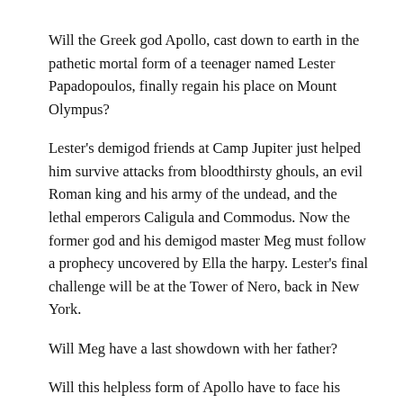Will the Greek god Apollo, cast down to earth in the pathetic mortal form of a teenager named Lester Papadopoulos, finally regain his place on Mount Olympus?
Lester's demigod friends at Camp Jupiter just helped him survive attacks from bloodthirsty ghouls, an evil Roman king and his army of the undead, and the lethal emperors Caligula and Commodus. Now the former god and his demigod master Meg must follow a prophecy uncovered by Ella the harpy. Lester's final challenge will be at the Tower of Nero, back in New York.
Will Meg have a last showdown with her father?
Will this helpless form of Apollo have to face his arch nemesis, Python?
Who will be on hand at Camp Half-Blood to assist?
In the fifth and final installment of Rick Riordan's best-